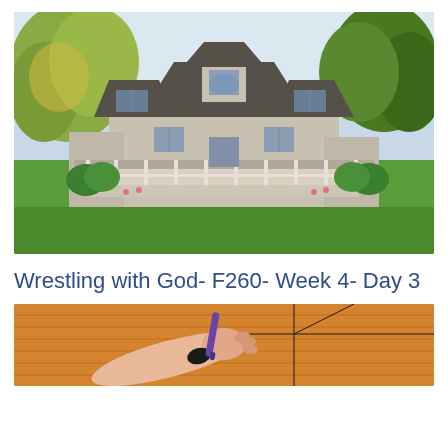[Figure (photo): A large Cape Cod-style house with gray shingle siding, multiple dormers, white wrap-around porch with decorative railings, surrounded by green lawn, shrubs, and autumn trees on both sides under a light sky.]
Wrestling with God- F260- Week 4- Day 3
[Figure (photo): Close-up of a hand reaching toward a wooden surface (appears to be an orange/tan wooden board or wall) with black lines forming a cross or grid pattern. A purple object (possibly a marker or pen) is held in the hand.]